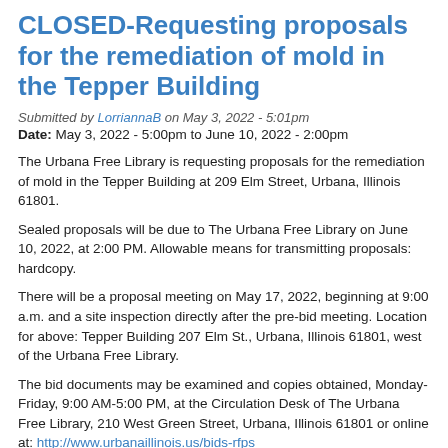CLOSED-Requesting proposals for the remediation of mold in the Tepper Building
Submitted by LorriannaB on May 3, 2022 - 5:01pm
Date: May 3, 2022 - 5:00pm to June 10, 2022 - 2:00pm
The Urbana Free Library is requesting proposals for the remediation of mold in the Tepper Building at 209 Elm Street, Urbana, Illinois 61801.
Sealed proposals will be due to The Urbana Free Library on June 10, 2022, at 2:00 PM. Allowable means for transmitting proposals: hardcopy.
There will be a proposal meeting on May 17, 2022, beginning at 9:00 a.m. and a site inspection directly after the pre-bid meeting. Location for above: Tepper Building 207 Elm St., Urbana, Illinois 61801, west of the Urbana Free Library.
The bid documents may be examined and copies obtained, Monday-Friday, 9:00 AM-5:00 PM, at the Circulation Desk of The Urbana Free Library, 210 West Green Street, Urbana, Illinois 61801 or online at: http://www.urbanaillinois.us/bids-rfps